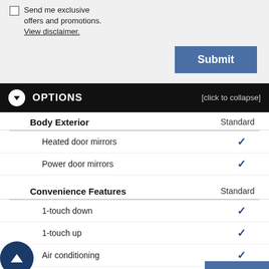Send me exclusive offers and promotions. View disclaimer.
Submit
OPTIONS [click to collapse]
| Feature | Standard |
| --- | --- |
| Body Exterior | Standard |
| Heated door mirrors | ✓ |
| Power door mirrors | ✓ |
| Convenience Features | Standard |
| 1-touch down | ✓ |
| 1-touch up | ✓ |
| Air conditioning | ✓ |
| Automatic temperature control | ✓ |
| er door bin | ✓ |
| r vanity mirror | ✓ |
| Emergency communication system | ✓ |
| Front beverage holders | ✓ |